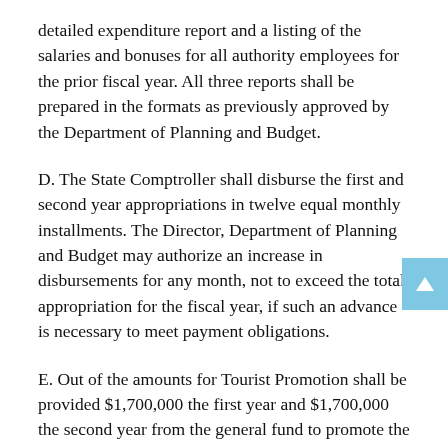detailed expenditure report and a listing of the salaries and bonuses for all authority employees for the prior fiscal year. All three reports shall be prepared in the formats as previously approved by the Department of Planning and Budget.
D. The State Comptroller shall disburse the first and second year appropriations in twelve equal monthly installments. The Director, Department of Planning and Budget may authorize an increase in disbursements for any month, not to exceed the total appropriation for the fiscal year, if such an advance is necessary to meet payment obligations.
E. Out of the amounts for Tourist Promotion shall be provided $1,700,000 the first year and $1,700,000 the second year from the general fund to promote the Virginia tourism industries.  These funds shall be used, among other purposes, to initiate strategies to